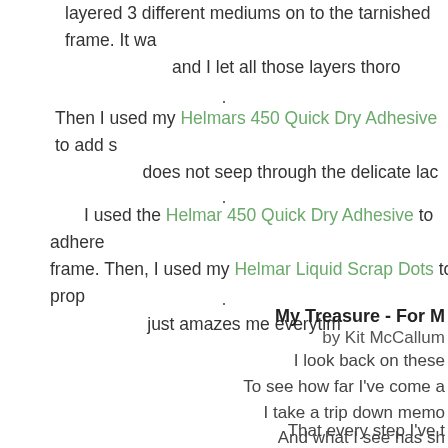layered 3 different mediums on to the tarnished frame. It wa and I let all those layers thoro
.
Then I used my Helmars 450 Quick Dry Adhesive to add s does not seep through the delicate lac
.
I used the Helmar 450 Quick Dry Adhesive to adhere frame. Then, I used my Helmar Liquid Scrap Dots to prop just amazes me everytim
.
My Treasure - For M
by Kit McCallum
I look back on these
To see how far I've come a
I take a trip down memo
And what I see has sh
That every step I've t
You have been there by m
From infancy to adul